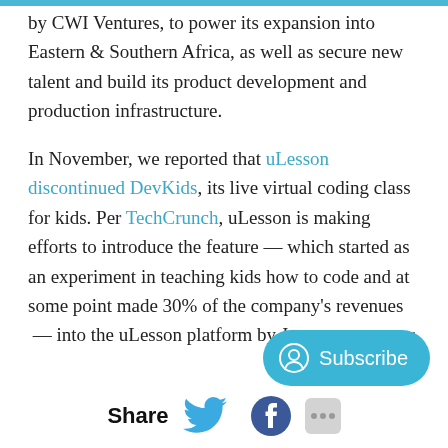by CWI Ventures, to power its expansion into Eastern & Southern Africa, as well as secure new talent and build its product development and production infrastructure.
In November, we reported that uLesson discontinued DevKids, its live virtual coding class for kids. Per TechCrunch, uLesson is making efforts to introduce the feature — which started as an experiment in teaching kids how to code and at some point made 30% of the company's revenues — into the uLesson platform by January next year.
Share